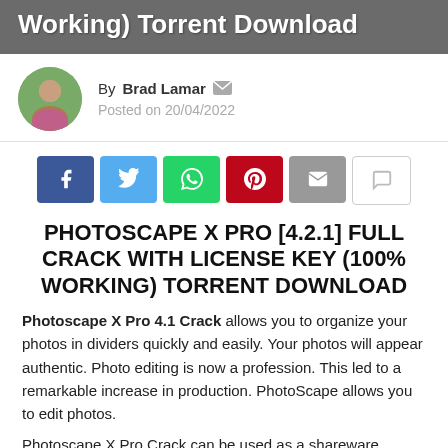Working) Torrent Download
By Brad Lamar  Posted on 20/04/2022
[Figure (infographic): Social share buttons: Facebook (blue), Twitter (light blue), WhatsApp (green), Pinterest (red), Email (grey), Comment (white/outline)]
PHOTOSCAPE X PRO [4.2.1] FULL CRACK WITH LICENSE KEY (100% WORKING) TORRENT DOWNLOAD
Photoscape X Pro 4.1 Crack allows you to organize your photos in dividers quickly and easily. Your photos will appear authentic. Photo editing is now a profession. This led to a remarkable increase in production. PhotoScape allows you to edit photos.
Photoscape X Pro Crack can be used as a shareware